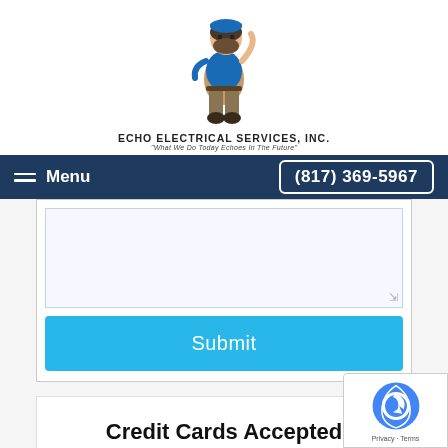[Figure (logo): Echo Electrical Services Inc. logo featuring a cartoon electrician mascot in blue uniform with company name and tagline 'What We Do Today Echoes In The Future']
Menu  (817) 369-5967
[Figure (screenshot): Text area input field (form element, partially visible at top of form)]
Submit
Credit Cards Accepted
[Figure (logo): Google reCAPTCHA badge with Privacy and Terms links]